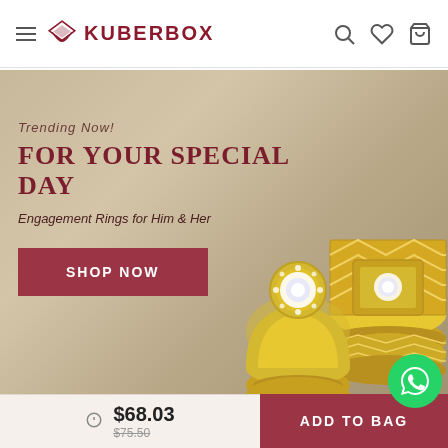KUBERBOX
[Figure (photo): Promotional banner showing two gold engagement rings on a neutral tan/beige background. Left text reads 'Trending Now! FOR YOUR SPECIAL DAY - Engagement Rings for Him & Her' with a SHOP NOW button.]
Trending Now! FOR YOUR SPECIAL DAY
Engagement Rings for Him & Her
SHOP NOW
[Figure (photo): Lower section showing a woman's hair/head from above with text 'Always in Vogue HEART EARRINGS' and an arrow-up icon in a red box.]
Always in Vogue
HEART EARRINGS
$68.03
$75.50
ADD TO BAG